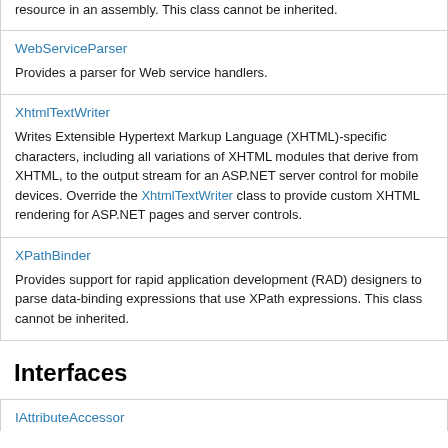resource in an assembly. This class cannot be inherited.
| WebServiceParser | Provides a parser for Web service handlers. |
| XhtmlTextWriter | Writes Extensible Hypertext Markup Language (XHTML)-specific characters, including all variations of XHTML modules that derive from XHTML, to the output stream for an ASP.NET server control for mobile devices. Override the XhtmlTextWriter class to provide custom XHTML rendering for ASP.NET pages and server controls. |
| XPathBinder | Provides support for rapid application development (RAD) designers to parse data-binding expressions that use XPath expressions. This class cannot be inherited. |
Interfaces
| IAttributeAccessor |  |